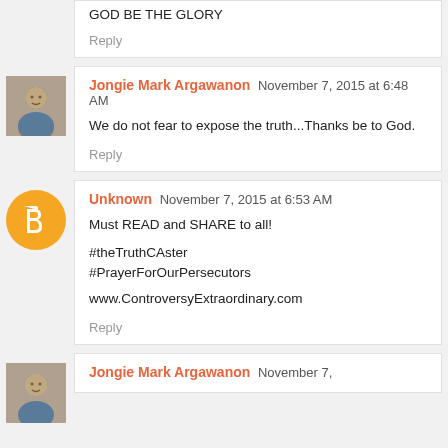GOD BE THE GLORY
Reply
Jongie Mark Argawanon November 7, 2015 at 6:48 AM
We do not fear to expose the truth...Thanks be to God.
Reply
[Figure (photo): Profile photo of Jongie Mark Argawanon]
[Figure (logo): Orange Blogger icon circle]
Unknown November 7, 2015 at 6:53 AM
Must READ and SHARE to all!
#theTruthCAster
#PrayerForOurPersecutors
www.ControversyExtraordinary.com
Reply
[Figure (photo): Profile photo of Jongie Mark Argawanon]
Jongie Mark Argawanon November 7, 2015 at ...